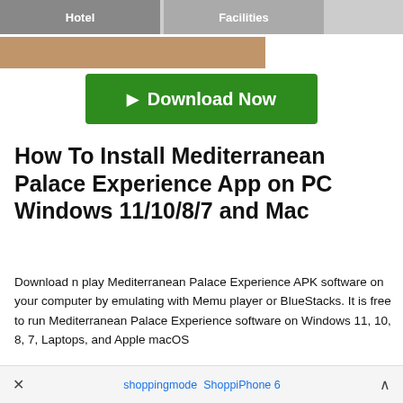[Figure (screenshot): Partial screenshot showing hotel and facilities tab buttons and a cropped photo below]
[Figure (other): Green Download Now button]
How To Install Mediterranean Palace Experience App on PC Windows 11/10/8/7 and Mac
Download n play Mediterranean Palace Experience APK software on your computer by emulating with Memu player or BlueStacks. It is free to run Mediterranean Palace Experience software on Windows 11, 10, 8, 7, Laptops, and Apple macOS
1. Choose the best emulator from below
× shoppingmode ShoppiPhone 6 ∧